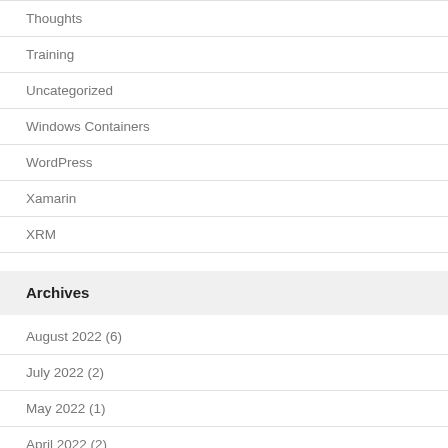Thoughts
Training
Uncategorized
Windows Containers
WordPress
Xamarin
XRM
Archives
August 2022 (6)
July 2022 (2)
May 2022 (1)
April 2022 (2)